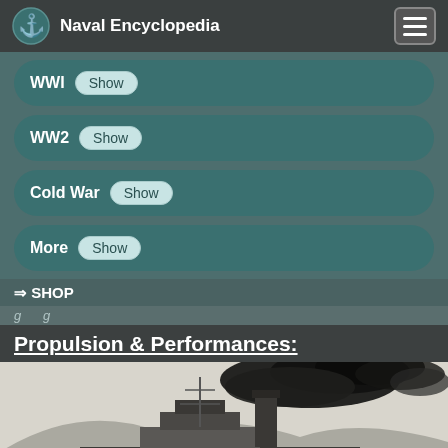Naval Encyclopedia
WWI Show
WW2 Show
Cold War Show
More Show
⇒ SHOP
Propulsion & Performances:
[Figure (photo): Black and white historical photograph of a naval warship emitting heavy black smoke from its funnels, photographed against a hilly backdrop.]